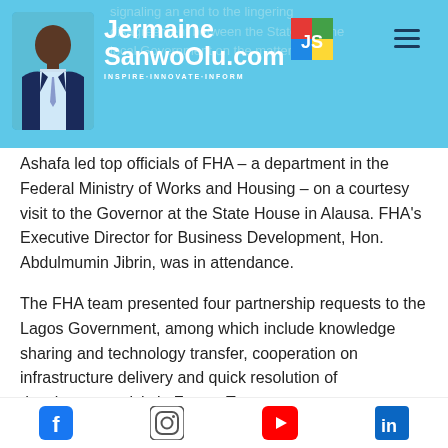JermaineSanwoOlu.com — INSPIRE·INNOVATE·INFORM
signaling an end to the lingering disagreement between the State and the local Government on the matter.
Ashafa led top officials of FHA – a department in the Federal Ministry of Works and Housing – on a courtesy visit to the Governor at the State House in Alausa. FHA's Executive Director for Business Development, Hon. Abdulmumin Jibrin, was in attendance.
The FHA team presented four partnership requests to the Lagos Government, among which include knowledge sharing and technology transfer, cooperation on infrastructure delivery and quick resolution of development crisis in Festac Town.
Facebook | Instagram | YouTube | LinkedIn